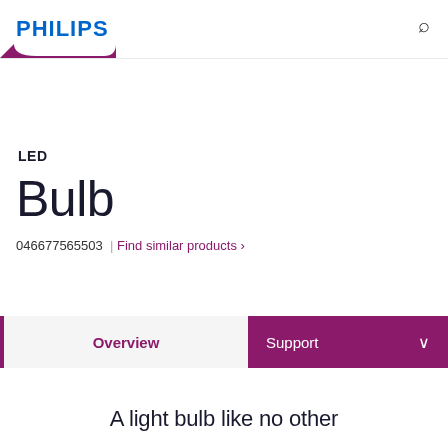PHILIPS
LED
Bulb
046677565503  |  Find similar products ›
Overview
Support
A light bulb like no other...